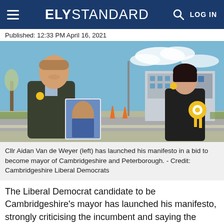ELY STANDARD   LOG IN
Published: 12:33 PM April 16, 2021
[Figure (photo): Cllr Aidan Van de Weyer (left) standing outdoors holding his own photo, wearing a yellow Liberal Democrat rosette badge on his dark jacket, next to a woman wearing a yellow Liberal Democrat rosette. A construction site and road are visible in the background.]
Cllr Aidan Van de Weyer (left) has launched his manifesto in a bid to become mayor of Cambridgeshire and Peterborough. - Credit: Cambridgeshire Liberal Democrats
The Liberal Democrat candidate to be Cambridgeshire's mayor has launched his manifesto, strongly criticising the incumbent and saying the mayoralty needs to get